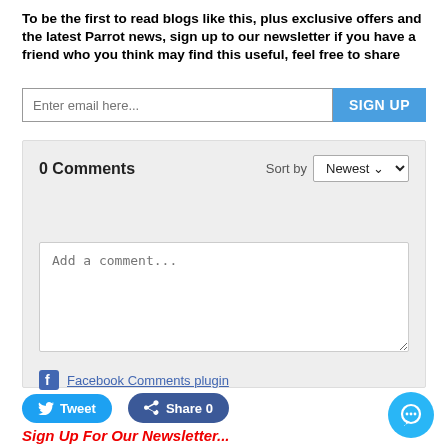To be the first to read blogs like this, plus exclusive offers and the latest Parrot news, sign up to our newsletter if you have a friend who you think may find this useful, feel free to share
Enter email here... SIGN UP
0 Comments Sort by Newest
Add a comment...
Facebook Comments plugin
Tweet
Share 0
Sign Up For Our Newsletter...